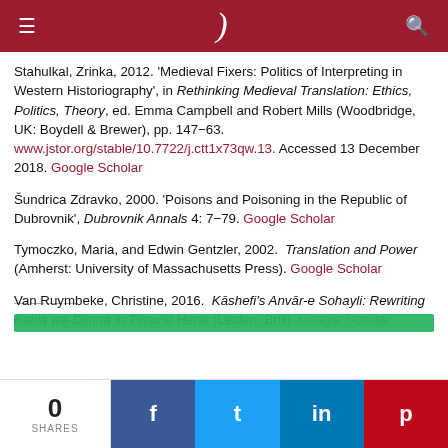≡ ) 🔍
Stahulkal, Zrinka, 2012. 'Medieval Fixers: Politics of Interpreting in Western Historiography', in Rethinking Medieval Translation: Ethics, Politics, Theory, ed. Emma Campbell and Robert Mills (Woodbridge, UK: Boydell & Brewer), pp. 147–63. www.jstor.org/stable/10.7722/j.ctt1x73qw.13. Accessed 13 December 2018. Google Scholar
Šundrica Zdravko, 2000. 'Poisons and Poisoning in the Republic of Dubrovnik', Dubrovnik Annals 4: 7–79. Google Scholar
Tymoczko, Maria, and Edwin Gentzler, 2002. Translation and Power (Amherst: University of Massachusetts Press). Google Scholar
Van Ruymbeke, Christine, 2016. Kāshefi's Anvār-e Sohayli: Rewriting Kalīla wa-Dimna in Timurid Herat (Leiden: Brill). Google Scholar
0 SHARES  f  t  in  p